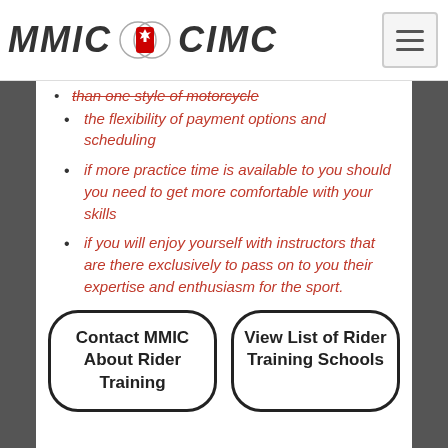MMIC CIMC
than one style of motorcycle
the flexibility of payment options and scheduling
if more practice time is available to you should you need to get more comfortable with your skills
if you will enjoy yourself with instructors that are there exclusively to pass on to you their expertise and enthusiasm for the sport.
Contact MMIC About Rider Training
View List of Rider Training Schools